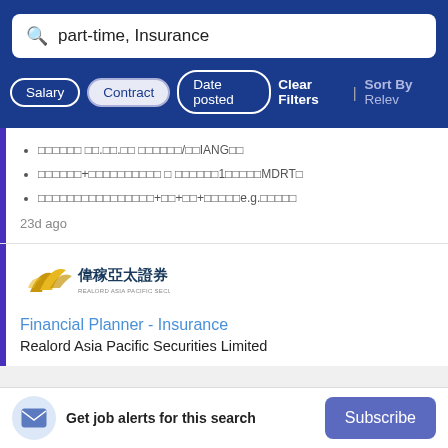part-time, Insurance
Salary | Contract | Date posted | Clear Filters | Sort By Relev
.　　.　　 　　　　　　/　　IANG
+　　　　　　　　　　　　 　 　　　　　　　1　　　　　MDRT
+　　+　　+　　　　　e.g.
23d ago
[Figure (logo): 偉稼亞太證券 Realord Asia Pacific Securities logo]
Financial Planner - Insurance
Realord Asia Pacific Securities Limited
Get job alerts for this search  Subscribe